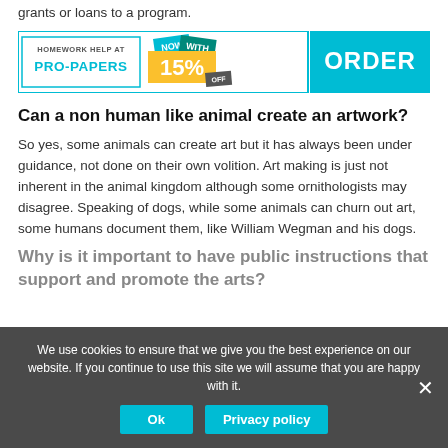grants or loans to a program.
[Figure (infographic): Pro-Papers homework help advertisement banner with 'NOW WITH 15% OFF' badges and teal ORDER button]
Can a non human like animal create an artwork?
So yes, some animals can create art but it has always been under guidance, not done on their own volition. Art making is just not inherent in the animal kingdom although some ornithologists may disagree. Speaking of dogs, while some animals can churn out art, some humans document them, like William Wegman and his dogs.
Why is it important to have public instructions that support and promote the arts?
We use cookies to ensure that we give you the best experience on our website. If you continue to use this site we will assume that you are happy with it.